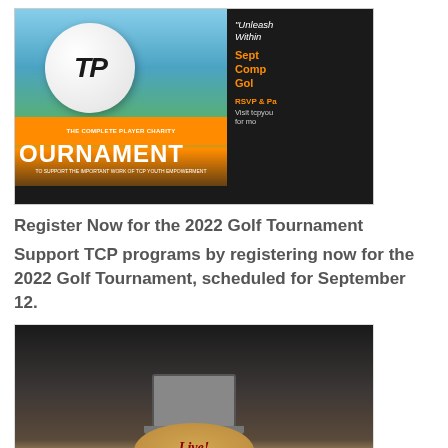[Figure (photo): Golf tournament promotional image showing a golf ball with TCP logo, orange banner reading 'The Complete Player Charity', 'TOURNAMENT' text at bottom, and right side dark panel with event details including 'Unleash Within', 'Sept', 'Complete', 'Golf', 'RSVP & Pa...', 'Visit tcpyou...']
Register Now for the 2022 Golf Tournament
Support TCP programs by registering now for the 2022 Golf Tournament, scheduled for September 12.
[Figure (photo): Group photo of people standing behind a podium at Live! Casino & Hotel. A man in a suit stands at a laptop/podium with a group of young people behind him.]
An April to Remember
April 2022 was a tremendous month for TCP Charity